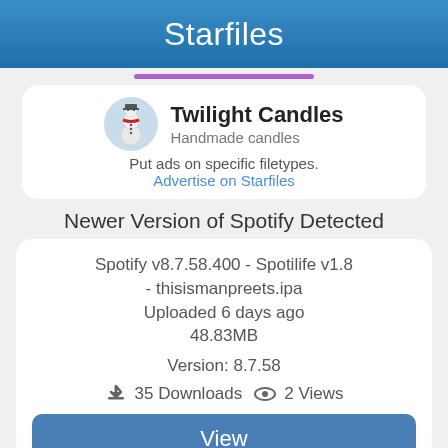Starfiles
[Figure (other): Advertisement card for Twilight Candles showing snowman avatar, business name, and tagline with link to advertise on Starfiles]
Twilight Candles
Handmade candles
Put ads on specific filetypes.
Advertise on Starfiles
Newer Version of Spotify Detected
Spotify v8.7.58.400 - Spotilife v1.8 - thisismanpreets.ipa
Uploaded 6 days ago
48.83MB
Version: 8.7.58
35 Downloads   2 Views
View
Spotify_v8.7.55_crack.ipa
Uploaded 9 days ago